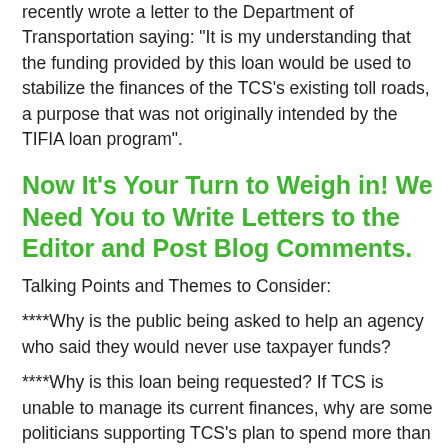recently wrote a letter to the Department of Transportation saying: "It is my understanding that the funding provided by this loan would be used to stabilize the finances of the TCS's existing toll roads, a purpose that was not originally intended by the TIFIA loan program".
Now It's Your Turn to Weigh in! We Need You to Write Letters to the Editor and Post Blog Comments.
Talking Points and Themes to Consider:
****Why is the public being asked to help an agency who said they would never use taxpayer funds?
****Why is this loan being requested? If TCS is unable to manage its current finances, why are some politicians supporting TCS's plan to spend more than $1.6 billion on the proposed Foothill-South – a toll road to nowhere?
****Congress needs to ask... What have we learned from the